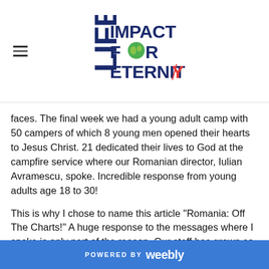Life Impact For Eternity
faces. The final week we had a young adult camp with 50 campers of which 8 young men opened their hearts to Jesus Christ. 21 dedicated their lives to God at the campfire service where our Romanian director, Iulian Avramescu, spoke. Incredible response from young adults age 18 to 30!
This is why I chose to name this article "Romania: Off The Charts!" A huge response to the messages where I spoke is only part of the reason. Our staff has grown so much since last summer. They have matured and they are working hard. One of our Advisory Board members, Nathan Randel, noted this as well seeing the personal growth from last summer to this summer. He wrote an excellent report about the camp that really fired me up!
POWERED BY weebly